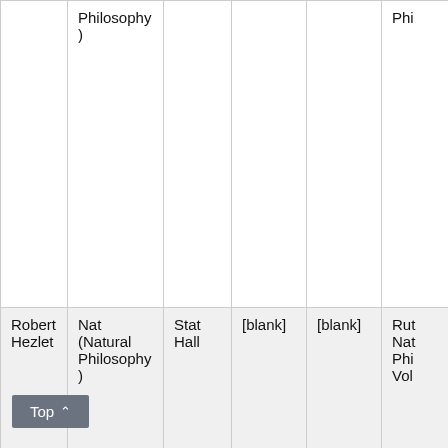|  | Philosophy) |  |  |  | Phi |
| Robert Hezlet | Nat (Natural Philosophy) | Stat Hall | [blank] | [blank] | Rut Nat Phi Vol |